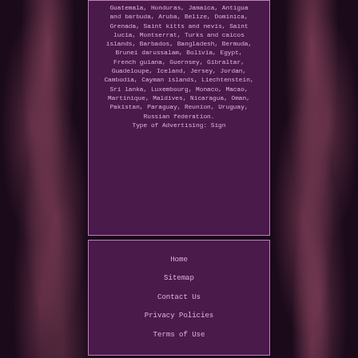Guatemala, Honduras, Jamaica, Antigua and barbuda, Aruba, Belize, Dominica, Grenada, Saint kitts and nevis, Saint lucia, Montserrat, Turks and caicos islands, Barbados, Bangladesh, Bermuda, Brunei darussalam, Bolivia, Egypt, French guiana, Guernsey, Gibraltar, Guadeloupe, Iceland, Jersey, Jordan, Cambodia, Cayman islands, Liechtenstein, Sri lanka, Luxembourg, Monaco, Macao, Martinique, Maldives, Nicaragua, Oman, Pakistan, Paraguay, Reunion, Uruguay, Russian federation.
Type of Advertising: Sign
Home
Sitemap
Contact Us
Privacy Policies
Terms of Use